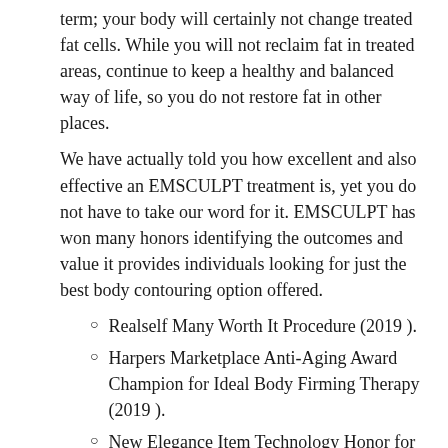term; your body will certainly not change treated fat cells. While you will not reclaim fat in treated areas, continue to keep a healthy and balanced way of life, so you do not restore fat in other places.
We have actually told you how excellent and also effective an EMSCULPT treatment is, yet you do not have to take our word for it. EMSCULPT has won many honors identifying the outcomes and value it provides individuals looking for just the best body contouring option offered.
Realself Many Worth It Procedure (2019 ).
Harpers Marketplace Anti-Aging Award Champion for Ideal Body Firming Therapy (2019 ).
New Elegance Item Technology Honor for Body Sculpting (2019 ).
Find out on your own what has the cosmetic neighborhood